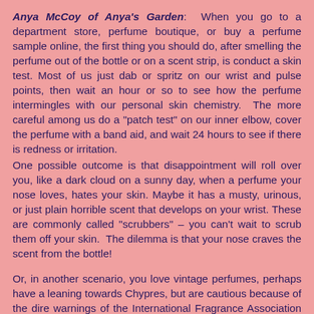Anya McCoy of Anya's Garden: When you go to a department store, perfume boutique, or buy a perfume sample online, the first thing you should do, after smelling the perfume out of the bottle or on a scent strip, is conduct a skin test. Most of us just dab or spritz on our wrist and pulse points, then wait an hour or so to see how the perfume intermingles with our personal skin chemistry. The more careful among us do a "patch test" on our inner elbow, cover the perfume with a band aid, and wait 24 hours to see if there is redness or irritation.
One possible outcome is that disappointment will roll over you, like a dark cloud on a sunny day, when a perfume your nose loves, hates your skin. Maybe it has a musty, urinous, or just plain horrible scent that develops on your wrist. These are commonly called "scrubbers" – you can't wait to scrub them off your skin. The dilemma is that your nose craves the scent from the bottle!

Or, in another scenario, you love vintage perfumes, perhaps have a leaning towards Chypres, but are cautious because of the dire warnings of the International Fragrance Association (IFRA) about the chemicals most often used in these scent categories.